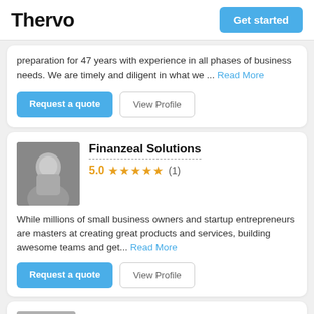Thervo
preparation for 47 years with experience in all phases of business needs. We are timely and diligent in what we ... Read More
Request a quote | View Profile
Finanzeal Solutions
5.0 ★★★★★ (1)
While millions of small business owners and startup entrepreneurs are masters at creating great products and services, building awesome teams and get... Read More
Request a quote | View Profile
SUBLIME ACCOUNTING INC